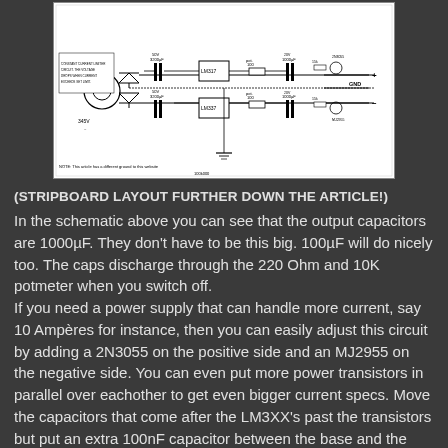[Figure (schematic): Circuit schematic of a dual-rail power supply using LM317 and LM337 regulators with transformer, bridge rectifier, filter capacitors (3200µF 50V, 1000µF), resistors (100 pot, 220 Ohm), and output terminals labeled +, GND, -. Input labeled 345V.]
(STRIPBOARD LAYOUT FURTHER DOWN THE ARTICLE!)
In the schematic above you can see that the output capacitors are 1000µF. They don't have to be this big. 100µF will do nicely too. The caps discharge through the 220 Ohm and 10K potmeter when you switch off.
If you need a power supply that can handle more current, say 10 Ampères for instance, then you can easily adjust this circuit by adding a 2N3055 on the positive side and an MJ2955 on the negative side. You can even put more power transistors in parallel over eachother to get even bigger current specs. Move the capacitors that come after the LM3XX's past the transistors but put an extra 100nF capacitor between the base and the pull to suppress